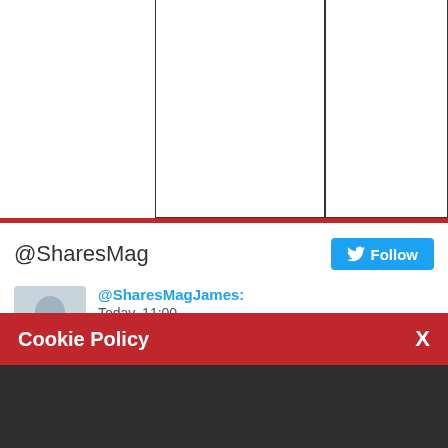[Figure (screenshot): Top white area with two bordered rectangular boxes and a red horizontal rule below]
@SharesMag
[Figure (screenshot): Twitter Follow button with bird icon]
[Figure (photo): Avatar photo of a man in a light blue shirt]
@SharesMagJames:
Today, 11:00
RT @SHARESmag: In news Shares... Predators and prey:
Cookie Policy
We use cookies to ensure that we give you the best experience on our website. If you continue without changing your settings, we'll assume that you are happy to receive all cookies from this website. If you would like to change your preferences you may do so by following the instructions here.